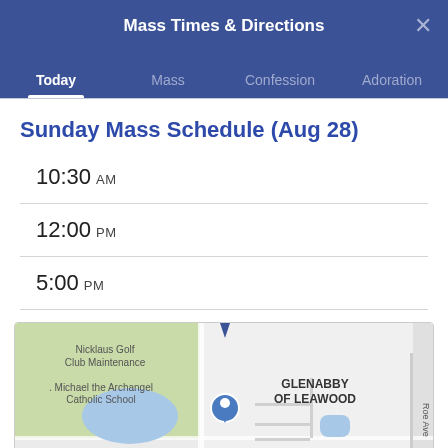Mass Times & Directions
Today | Mass | Confession | Adoration
Sunday Mass Schedule (Aug 28)
10:30 AM
12:00 PM
5:00 PM
[Figure (map): Google Maps screenshot showing the area around St. Michael the Archangel Catholic School, Nicklaus Golf Club Maintenance, GLENABBY OF LEAWOOD, The Healthcare Resort of Leawood, W 144th St, Roe Ave, Granada]